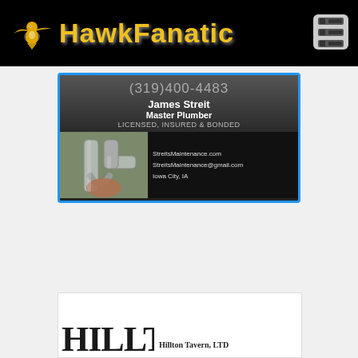HawkFanatic
[Figure (infographic): Business advertisement card for James Streit Master Plumber. Phone: (319)400-4483. Licensed, Insured & Bonded. StreitsMaintenance.com, StreitsMaintenance@gmail.com, Iowa City, IA. Contains photo of plumbing work.]
[Figure (logo): Hillton Tavern LTD partial logo visible at bottom of page]